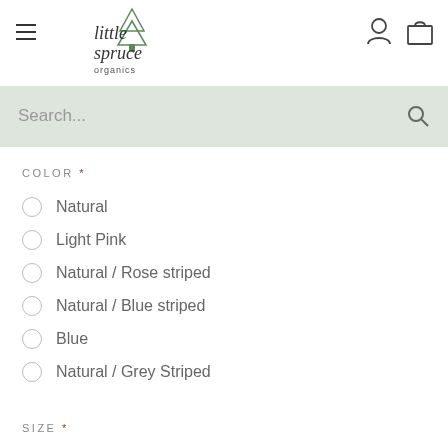little spruce organics
Search...
COLOR *
Natural
Light Pink
Natural / Rose striped
Natural / Blue striped
Blue
Natural / Grey Striped
SIZE *